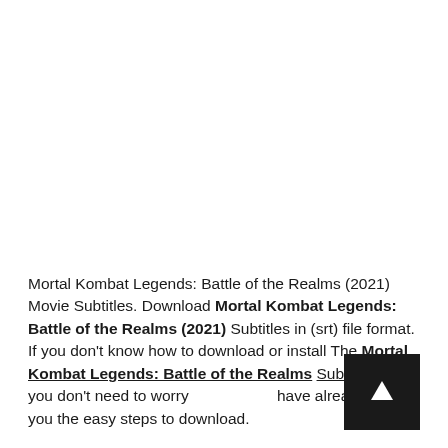Mortal Kombat Legends: Battle of the Realms (2021) Movie Subtitles. Download Mortal Kombat Legends: Battle of the Realms (2021) Subtitles in (srt) file format. If you don't know how to download or install The Mortal Kombat Legends: Battle of the Realms Subtitles then you don't need to worry have already given you the easy steps to download.